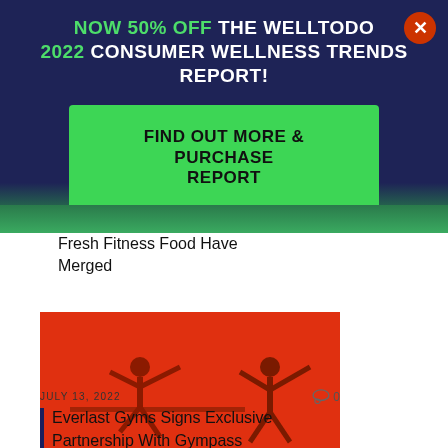NOW 50% OFF THE WELLTODO 2022 CONSUMER WELLNESS TRENDS REPORT!
FIND OUT MORE & PURCHASE REPORT
Fresh Fitness Food Have Merged
[Figure (photo): Two dancers in red outfits performing gymnastics/dance moves against a bright red/orange background]
JULY 13, 2022  0
Everlast Gyms Signs Exclusive Partnership With Gympass External